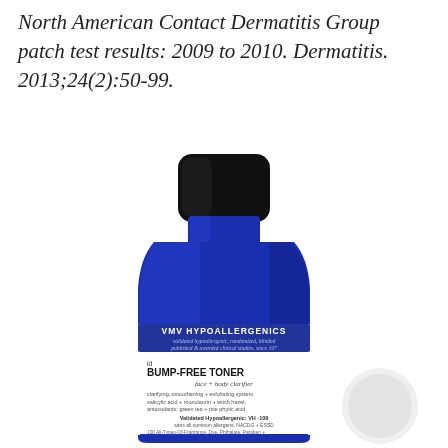North American Contact Dermatitis Group patch test results: 2009 to 2010. Dermatitis. 2013;24(2):50-99.
[Figure (photo): A blue glass bottle of VMV Hypoallergenics id Bump-Free Toner face + body clarifier with a black cap, showing product label with details about hypoallergenic validation, ingredients, and usage.]